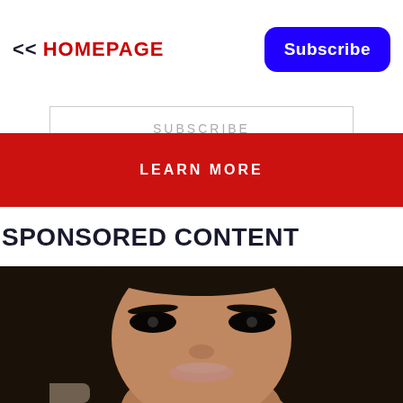<< HOMEPAGE
Subscribe
SUBSCRIBE
LEARN MORE
SPONSORED CONTENT
[Figure (photo): Close-up portrait of a young woman with long dark straight hair, dark eyes with heavy makeup, looking downward. Outdoor blurred background.]